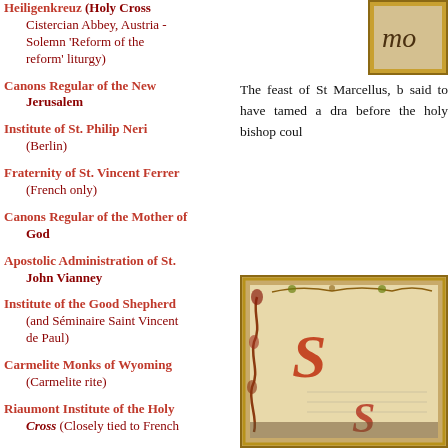Heiligenkreuz (Holy Cross Cistercian Abbey, Austria - Solemn 'Reform of the reform' liturgy)
Canons Regular of the New Jerusalem
Institute of St. Philip Neri (Berlin)
Fraternity of St. Vincent Ferrer (French only)
Canons Regular of the Mother of God
Apostolic Administration of St. John Vianney
Institute of the Good Shepherd (and Séminaire Saint Vincent de Paul)
Carmelite Monks of Wyoming (Carmelite rite)
Riaumont Institute of the Holy Cross (Closely tied to French...
The feast of St Marcellus, b said to have tamed a dra before the holy bishop coul
[Figure (photo): Top right: partial view of an illuminated manuscript page with gold border, showing partial text 'mo']
[Figure (photo): Bottom right: illuminated manuscript page with ornate gold border, decorated with scrollwork and decorative initials in red, blue and gold colors]